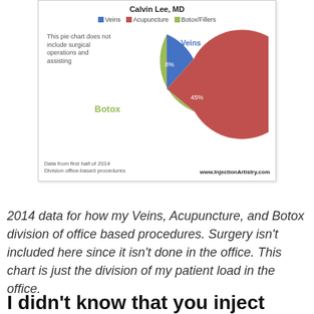[Figure (pie-chart): Calvin Lee, MD]
2014 data for how my Veins, Acupuncture, and Botox division of office based procedures. Surgery isn't included here since it isn't done in the office. This chart is just the division of my patient load in the office.
I didn't know that you inject